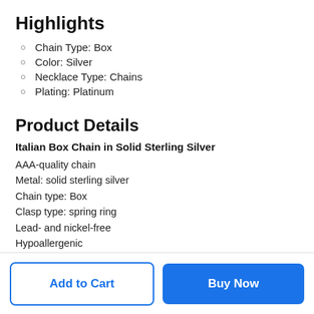Highlights
Chain Type: Box
Color: Silver
Necklace Type: Chains
Plating: Platinum
Product Details
Italian Box Chain in Solid Sterling Silver
AAA-quality chain
Metal: solid sterling silver
Chain type: Box
Clasp type: spring ring
Lead- and nickel-free
Hypoallergenic
Chain length: 16", 18", 20", 22", 24", or 30"
Chain width: 0.8mm